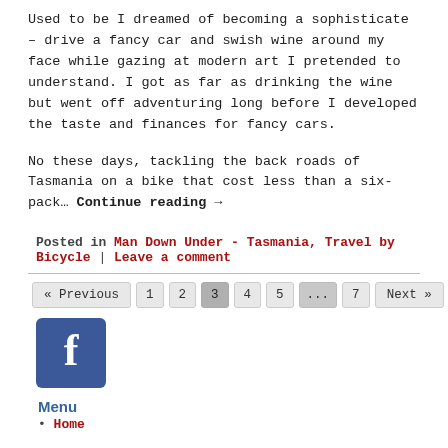Used to be I dreamed of becoming a sophisticate – drive a fancy car and swish wine around my face while gazing at modern art I pretended to understand. I got as far as drinking the wine but went off adventuring long before I developed the taste and finances for fancy cars.
No these days, tackling the back roads of Tasmania on a bike that cost less than a six-pack… Continue reading →
Posted in Man Down Under - Tasmania, Travel by Bicycle | Leave a comment
« Previous  1  2  3  4  5  ...  7  Next »
[Figure (logo): Facebook logo — blue square with white letter f]
Menu
Home